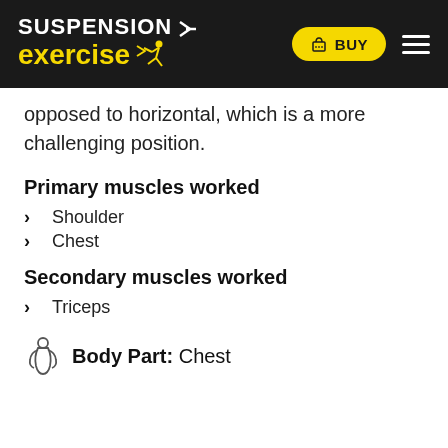SUSPENSION exercise — BUY
opposed to horizontal, which is a more challenging position.
Primary muscles worked
Shoulder
Chest
Secondary muscles worked
Triceps
Body Part: Chest